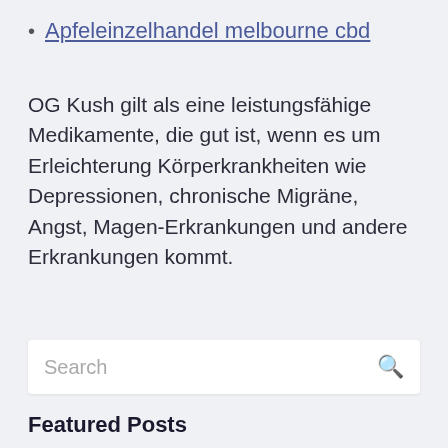Apfeleinzelhandel melbourne cbd
OG Kush gilt als eine leistungsfähige Medikamente, die gut ist, wenn es um Erleichterung Körperkrankheiten wie Depressionen, chronische Migräne, Angst, Magen-Erkrankungen und andere Erkrankungen kommt.
Search
Featured Posts